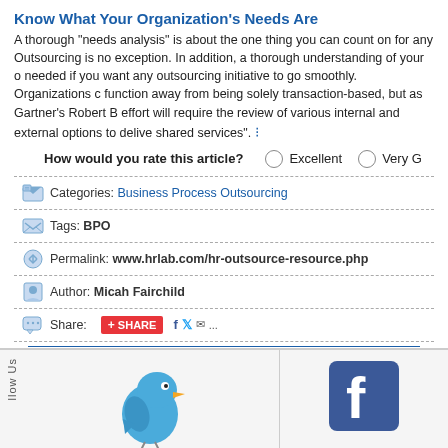Know What Your Organization's Needs Are
A thorough "needs analysis" is about the one thing you can count on for any... Outsourcing is no exception. In addition, a thorough understanding of your o... needed if you want any outsourcing initiative to go smoothly. Organizations c... function away from being solely transaction-based, but as Gartner's Robert B... effort will require the review of various internal and external options to delive... shared services".
How would you rate this article?   ○ Excellent  ○ Very G
Categories: Business Process Outsourcing
Tags: BPO
Permalink: www.hrlab.com/hr-outsource-resource.php
Author: Micah Fairchild
Share:
[Figure (screenshot): Twitter bird mascot in footer]
[Figure (logo): Facebook logo in footer]